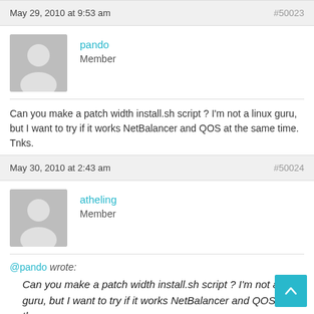May 29, 2010 at 9:53 am   #50023
pando
Member
Can you make a patch width install.sh script ? I'm not a linux guru, but I want to try if it works NetBalancer and QOS at the same time.
Tnks.
May 30, 2010 at 2:43 am   #50024
atheling
Member
@pando wrote:
Can you make a patch width install.sh script ? I'm not a linux guru, but I want to try if it works NetBalancer and QOS at the